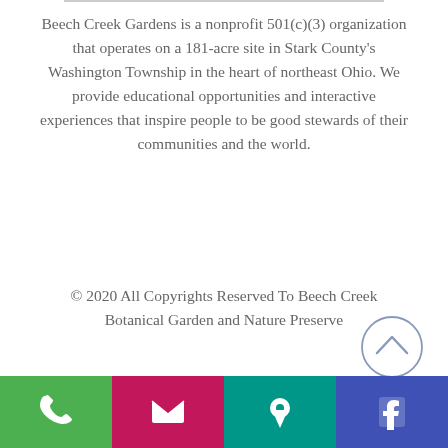Beech Creek Gardens is a nonprofit 501(c)(3) organization that operates on a 181-acre site in Stark County's Washington Township in the heart of northeast Ohio. We provide educational opportunities and interactive experiences that inspire people to be good stewards of their communities and the world.
© 2020 All Copyrights Reserved To Beech Creek Botanical Garden and Nature Preserve
[Figure (other): Scroll-to-top button: a circle with an upward-pointing chevron arrow inside, styled in light blue-grey]
[Figure (infographic): Bottom navigation bar with four colored buttons: green phone icon, magenta email icon, teal map/location icon, dark blue Facebook icon]